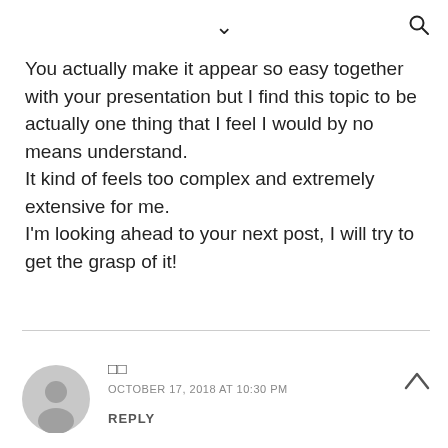∨  🔍
You actually make it appear so easy together with your presentation but I find this topic to be actually one thing that I feel I would by no means understand.
It kind of feels too complex and extremely extensive for me.
I'm looking ahead to your next post, I will try to get the grasp of it!
□□
OCTOBER 17, 2018 AT 10:30 PM
REPLY